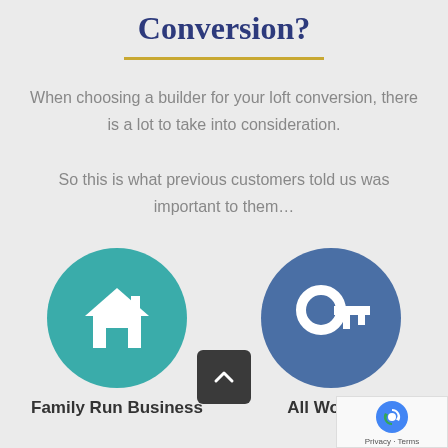Conversion?
When choosing a builder for your loft conversion, there is a lot to take into consideration. So this is what previous customers told us was important to them…
[Figure (illustration): Teal circle with white house icon, labeled 'Family Run Business']
[Figure (illustration): Blue circle with white key icon, labeled 'All Work Is']